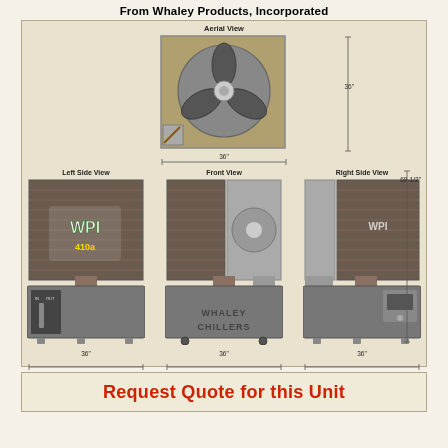From Whaley Products, Incorporated
[Figure (engineering-diagram): Multi-view engineering drawing of Whaley Chillers unit showing Aerial View (top), Left Side View, Front View, and Right Side View with dimensions 36" width and 69-1/2" height]
Request Quote for this Unit